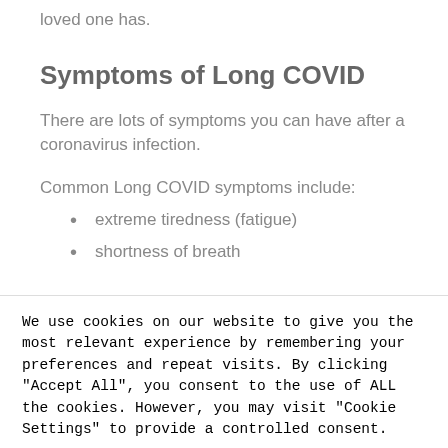loved one has.
Symptoms of Long COVID
There are lots of symptoms you can have after a coronavirus infection.
Common Long COVID symptoms include:
extreme tiredness (fatigue)
shortness of breath
We use cookies on our website to give you the most relevant experience by remembering your preferences and repeat visits. By clicking "Accept All", you consent to the use of ALL the cookies. However, you may visit "Cookie Settings" to provide a controlled consent.